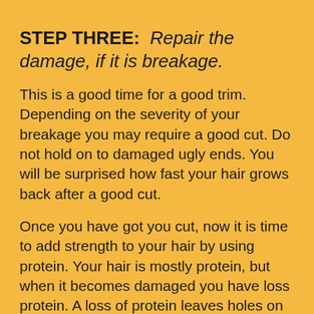STEP THREE: Repair the damage, if it is breakage.
This is a good time for a good trim. Depending on the severity of your breakage you may require a good cut. Do not hold on to damaged ugly ends. You will be surprised how fast your hair grows back after a good cut.
Once you have got you cut, now it is time to add strength to your hair by using protein. Your hair is mostly protein, but when it becomes damaged you have loss protein. A loss of protein leaves holes on your hair strands. Those weakened hair strands will surely break off without doing a good protein treatment. For severe breakage I recommend the aphogee 2 step treatment. Your first aphogee